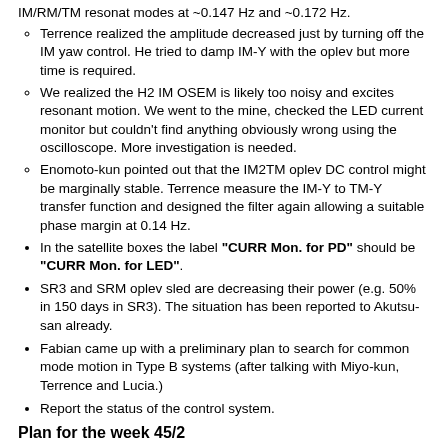IM/RM/TM resonat modes at ~0.147 Hz and ~0.172 Hz.
Terrence realized the amplitude decreased just by turning off the IM yaw control. He tried to damp IM-Y with the oplev but more time is required.
We realized the H2 IM OSEM is likely too noisy and excites resonant motion. We went to the mine, checked the LED current monitor but couldn't find anything obviously wrong using the oscilloscope. More investigation is needed.
Enomoto-kun pointed out that the IM2TM oplev DC control might be marginally stable. Terrence measure the IM-Y to TM-Y transfer function and designed the filter again allowing a suitable phase margin at 0.14 Hz.
In the satellite boxes the label "CURR Mon. for PD" should be "CURR Mon. for LED".
SR3 and SRM oplev sled are decreasing their power (e.g. 50% in 150 days in SR3). The situation has been reported to Akutsu-san already.
Fabian came up with a preliminary plan to search for common mode motion in Type B systems (after talking with Miyo-kun, Terrence and Lucia.)
Report the status of the control system.
Plan for the week 45/2